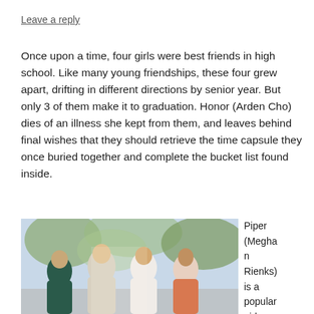Leave a reply
Once upon a time, four girls were best friends in high school. Like many young friendships, these four grew apart, drifting in different directions by senior year. But only 3 of them make it to graduation. Honor (Arden Cho) dies of an illness she kept from them, and leaves behind final wishes that they should retrieve the time capsule they once buried together and complete the bucket list found inside.
[Figure (photo): Photo of three young women laughing and hugging together outdoors with trees in background]
Piper (Meghan Rienks) is a popular girl (transla